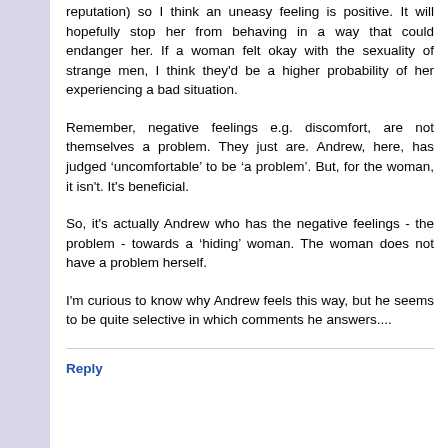reputation) so I think an uneasy feeling is positive. It will hopefully stop her from behaving in a way that could endanger her. If a woman felt okay with the sexuality of strange men, I think they'd be a higher probability of her experiencing a bad situation.
Remember, negative feelings e.g. discomfort, are not themselves a problem. They just are. Andrew, here, has judged ‘uncomfortable’ to be ‘a problem’. But, for the woman, it isn't. It's beneficial.
So, it's actually Andrew who has the negative feelings - the problem - towards a ‘hiding’ woman. The woman does not have a problem herself.
I'm curious to know why Andrew feels this way, but he seems to be quite selective in which comments he answers....
Reply